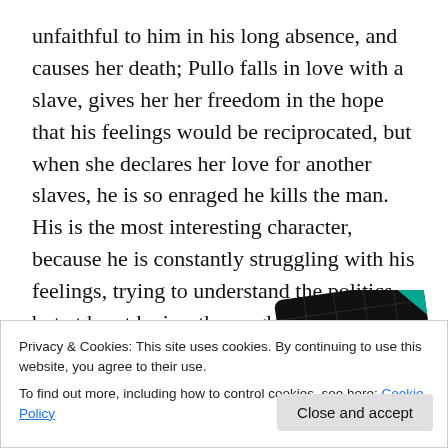unfaithful to him in his long absence, and causes her death; Pullo falls in love with a slave, gives her her freedom in the hope that his feelings would be reciprocated, but when she declares her love for another slaves, he is so enraged he kills the man. His is the most interesting character, because he is constantly struggling with his feelings, trying to understand the politics, but at heart he is a thoroughly decent and often funny man.
[Figure (other): Partial image of a '99% Invisible' podcast/brand card or advertisement with black background, green and blue colored elements, and yellow text reading '99% INVISIBLE'.]
Privacy & Cookies: This site uses cookies. By continuing to use this website, you agree to their use.
To find out more, including how to control cookies, see here: Cookie Policy